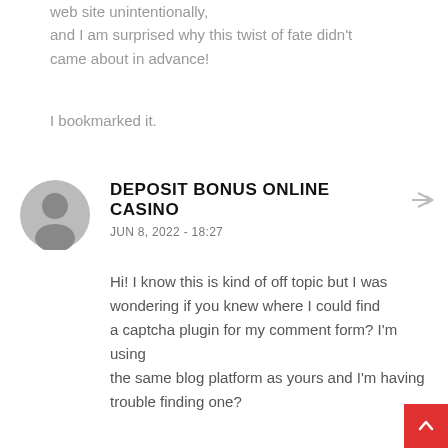web site unintentionally, and I am surprised why this twist of fate didn't came about in advance!
I bookmarked it.
DEPOSIT BONUS ONLINE CASINO
JUN 8, 2022 - 18:27
Hi! I know this is kind of off topic but I was wondering if you knew where I could find a captcha plugin for my comment form? I'm using the same blog platform as yours and I'm having trouble finding one?
Thanks a lot!